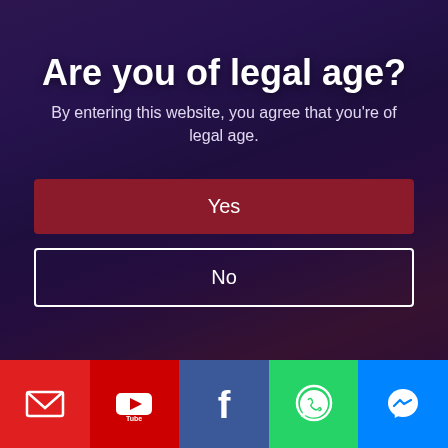Are you of legal age?
By entering this website, you agree that you're of legal age.
Yes
No
[Figure (infographic): Social media icon bar at the bottom with email (red), YouTube (dark red), Facebook (blue), WhatsApp (green), and Messenger (light blue) icons]